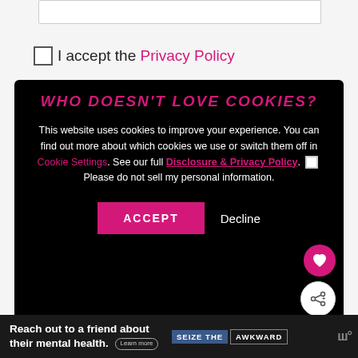I accept the Privacy Policy
[Figure (screenshot): Cookie consent modal on dark background with title 'WHO DOESN'T LOVE COOKIES?', body text about cookie usage, links to Cookie Settings and Disclosure & Privacy Policy, checkbox for 'Please do not sell my personal information', ACCEPT button, and Decline text button. A pink heart icon button and a white share icon button appear on the right side. A 'WHAT'S NEXT' section with a thumbnail appears in the lower right.]
[Figure (screenshot): Advertisement banner at bottom: 'Reach out to a friend about their mental health.' with 'SEIZE THE AWKWARD' branding badge and logos.]